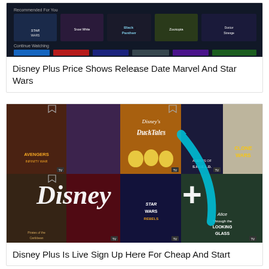[Figure (screenshot): Disney Plus streaming interface screenshot showing recommended movies including Star Wars, Snow White, Black Panther, Zootopia, and Doctor Strange]
Disney Plus Price Shows Release Date Marvel And Star Wars
[Figure (photo): Disney Plus promotional collage showing logos and movie posters including Avengers Infinity War, DuckTales, Clone Wars, Pirates of the Caribbean, Spider-Man, Star Wars Rebels, Agents of SHIELD, and Alice Through the Looking Glass with Disney+ logo overlay]
Disney Plus Is Live Sign Up Here For Cheap And Start
[Figure (screenshot): Partial screenshot of another Disney Plus related article at the bottom of the page]